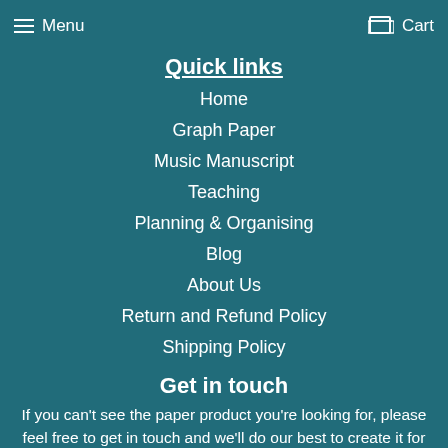Menu  Cart
Quick links
Home
Graph Paper
Music Manuscript
Teaching
Planning & Organising
Blog
About Us
Return and Refund Policy
Shipping Policy
Get in touch
If you can't see the paper product you're looking for, please feel free to get in touch and we'll do our best to create it for